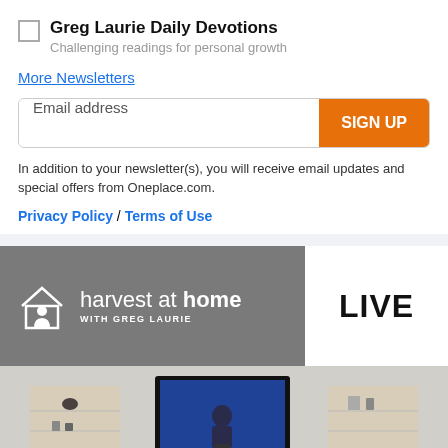Greg Laurie Daily Devotions
Challenging readings for personal growth
More Newsletters
Email address
SIGN UP
In addition to your newsletter(s), you will receive email updates and special offers from Oneplace.com.
Privacy Policy / Terms of Use
[Figure (logo): Harvest at Home with Greg Laurie logo on grey background, with house/person icon]
LIVE
[Figure (photo): Person speaking on stage shown on a flat-screen TV mounted in a living room entertainment center with shelving units on either side]